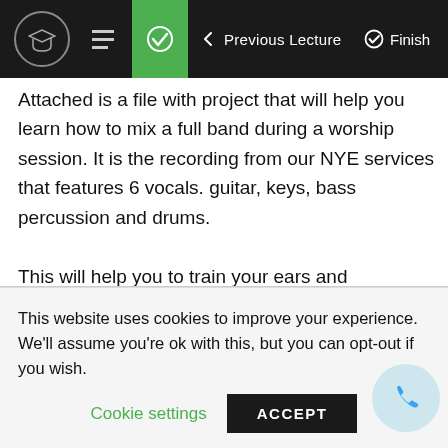← Previous Lecture   ✓ Finish
Attached is a file with project that will help you learn how to mix a full band during a worship session. It is the recording from our NYE services that features 6 vocals. guitar, keys, bass percussion and drums.

This will help you to train your ears and understanding of how to use faders to get the perfect balance in a track.

I must point out at this point that a mix is not a static state, musicians play harder and sofer at
This website uses cookies to improve your experience. We'll assume you're ok with this, but you can opt-out if you wish.
Cookie settings   ACCEPT